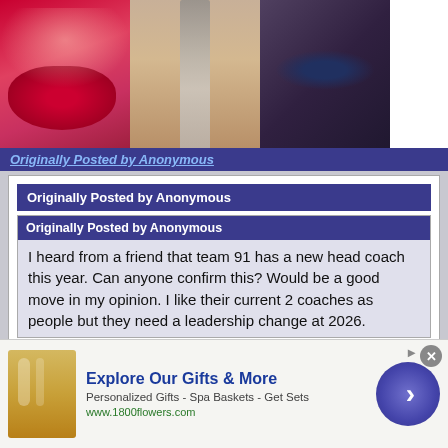[Figure (screenshot): Top banner advertisement for Ulta Beauty showing makeup photos, Ulta logo, eye makeup photos, and Shop Now button]
Originally Posted by Anonymous
Originally Posted by Anonymous
Originally Posted by Anonymous
I heard from a friend that team 91 has a new head coach this year. Can anyone confirm this? Would be a good move in my opinion. I like their current 2 coaches as people but they need a leadership change at 2026.
The one director SL is now the head coach. Added 6/7 new players. Should be improved. At least daddy ball is no more.
[Figure (screenshot): Bottom banner advertisement for 1800flowers.com showing gifts, spa baskets with text Explore Our Gifts & More]
Explore Our Gifts & More
Personalized Gifts - Spa Baskets - Get Sets
www.1800flowers.com